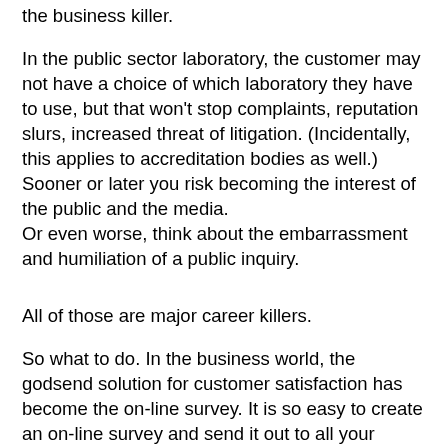the business killer.
In the public sector laboratory, the customer may not have a choice of which laboratory they have to use, but that won't stop complaints, reputation slurs, increased threat of litigation. (Incidentally, this applies to accreditation bodies as well.) Sooner or later you risk becoming the interest of the public and the media. Or even worse, think about the embarrassment and humiliation of a public inquiry.
All of those are major career killers.
So what to do. In the business world, the godsend solution for customer satisfaction has become the on-line survey. It is so easy to create an on-line survey and send it out to all your important customers. So easy, in fact, that it has become too easy.